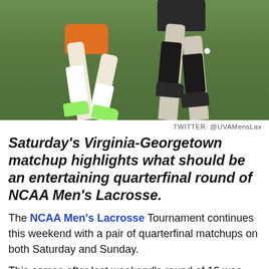[Figure (photo): Two lacrosse players running on grass field, one in orange shorts and white socks with green cleats, another in black shorts and black socks with black cleats]
TWITTER: @UVAMensLax
Saturday’s Virginia-Georgetown matchup highlights what should be an entertaining quarterfinal round of NCAA Men’s Lacrosse.
The NCAA Men’s Lacrosse Tournament continues this weekend with a pair of quarterfinal matchups on both Saturday and Sunday.
This comes after last weekend’s round of 16 was one